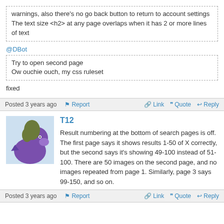warnings, also there's no go back button to return to account settings
The text size <h2> at any page overlaps when it has 2 or more lines of text
@DBot
Try to open second page
Ow ouchie ouch, my css ruleset
fixed
Posted 3 years ago   Report   Link   Quote   Reply
[Figure (illustration): Forum avatar: purple and green cartoon pony silhouette on light blue background]
T12
Result numbering at the bottom of search pages is off. The first page says it shows results 1-50 of X correctly, but the second says it's showing 49-100 instead of 51-100. There are 50 images on the second page, and no images repeated from page 1. Similarly, page 3 says 99-150, and so on.
Posted 3 years ago   Report   Link   Quote   Reply